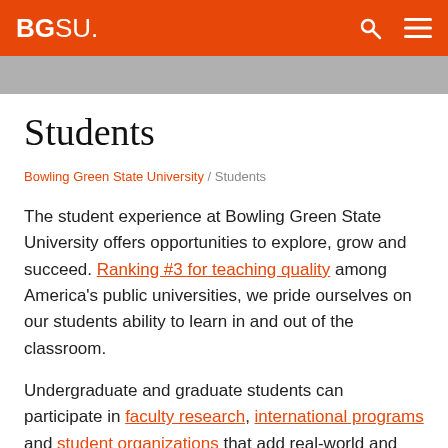BGSU.
Students
Bowling Green State University / Students
The student experience at Bowling Green State University offers opportunities to explore, grow and succeed. Ranking #3 for teaching quality among America's public universities, we pride ourselves on our students ability to learn in and out of the classroom.
Undergraduate and graduate students can participate in faculty research, international programs and student organizations that add real-world and leadership experiences that take coursework to practical